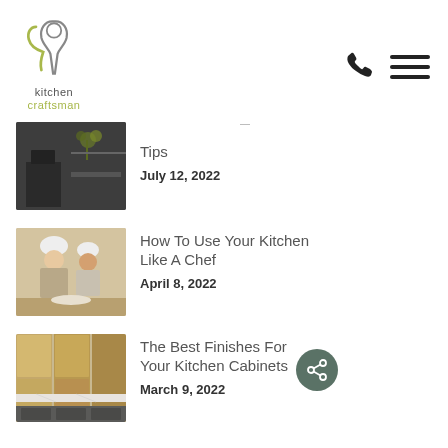[Figure (logo): Kitchen Craftsman logo with stylized chef/spoon icon in olive green and grey, text 'kitchen' in grey and 'craftsman' in olive/yellow-green]
[Figure (illustration): Phone icon and hamburger menu icon (three horizontal lines) in the top right navigation area]
Tips
July 12, 2022
[Figure (photo): Dark modern kitchen with oven and yellow flowers]
How To Use Your Kitchen Like A Chef
April 8, 2022
[Figure (photo): Two people in chef hats cooking together at a table]
The Best Finishes For Your Kitchen Cabinets
March 9, 2022
[Figure (photo): Light wood kitchen cabinets with marble countertop]
[Figure (illustration): Dark green circular share button with share/network icon]